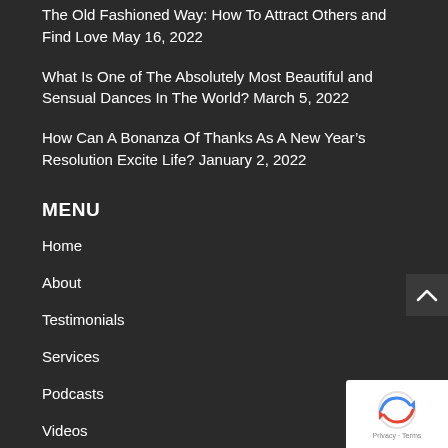The Old Fashioned Way: How To Attract Others and Find Love May 16, 2022
What Is One of The Absolutely Most Beautiful and Sensual Dances In The World? March 5, 2022
How Can A Bonanza Of Thanks As A New Year’s Resolution Excite Life? January 2, 2022
MENU
Home
About
Testimonials
Services
Podcasts
Videos